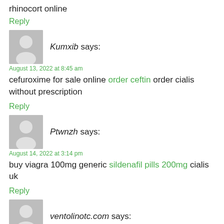rhinocort online
Reply
Kumxib says:
August 13, 2022 at 8:45 am
cefuroxime for sale online order ceftin order cialis without prescription
Reply
Ptwnzh says:
August 14, 2022 at 3:14 pm
buy viagra 100mg generic sildenafil pills 200mg cialis uk
Reply
ventolinotc.com says:
August 14, 2022 at 4:02 am